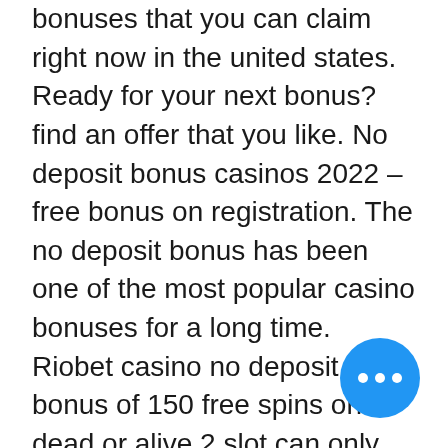bonuses that you can claim right now in the united states. Ready for your next bonus? find an offer that you like. No deposit bonus casinos 2022 – free bonus on registration. The no deposit bonus has been one of the most popular casino bonuses for a long time. Riobet casino no deposit bonus of 150 free spins on dead or alive 2 slot can only be obtained by players who register an account at riobet. Claiming an online casino free sign up bonus is actually quite simple. Best 17 sign up casino bonuses card registration bonus casino uk -- free spins. Com is the place where you can find best casino sign up bonuses. All new players get free money to play with and no deposit is required. A no deposit bonus is an offer of free play that casinos offer new clients as a drawcard to sign up. Free no deposit bonus casinos in south africa in 2022 ➤ get your free pr… &amp; coupon codes for a chance to wi… real money, including free spins! 100k free
[Figure (other): Blue circular button with three horizontal dots (ellipsis/more options icon)]